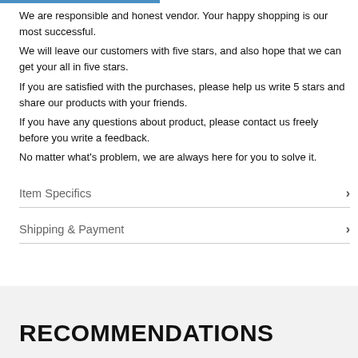We are responsible and honest vendor. Your happy shopping is our most successful.
We will leave our customers with five stars, and also hope that we can get your all in five stars.
If you are satisfied with the purchases, please help us write 5 stars and share our products with your friends.
If you have any questions about product, please contact us freely before you write a feedback.
No matter what's problem, we are always here for you to solve it.
Item Specifics
Shipping & Payment
RECOMMENDATIONS